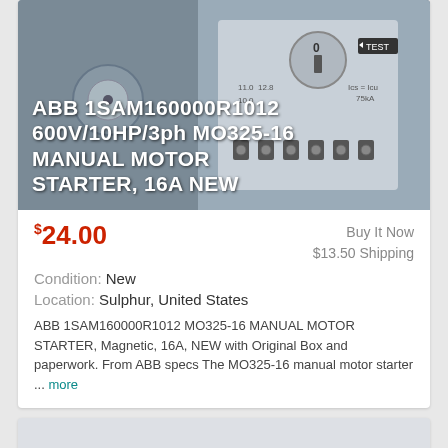[Figure (photo): Photo of ABB manual motor starter device with overlay text: ABB 1SAM160000R1012 600V/10HP/3ph MO325-16 MANUAL MOTOR STARTER, 16A NEW]
$24.00  Buy It Now  $13.50 Shipping  Condition: New  Location: Sulphur, United States
ABB 1SAM160000R1012 MO325-16 MANUAL MOTOR STARTER, Magnetic, 16A, NEW with Original Box and paperwork. From ABB specs The MO325-16 manual motor starter ... more
[Figure (photo): Partial photo of a second product (circuit breaker or motor starter device) at the bottom of the page]